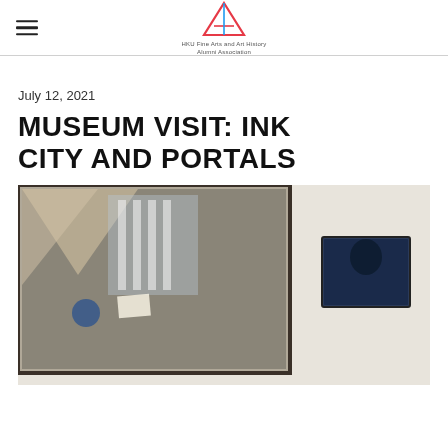HKU Fine Arts and Art History Alumni Association
July 12, 2021
MUSEUM VISIT: INK CITY AND PORTALS
[Figure (photo): Museum gallery interior showing a large framed artwork on the left wall with abstract geometric shapes in muted tones, and a smaller dark framed piece on the right wall. The walls are white/cream colored.]